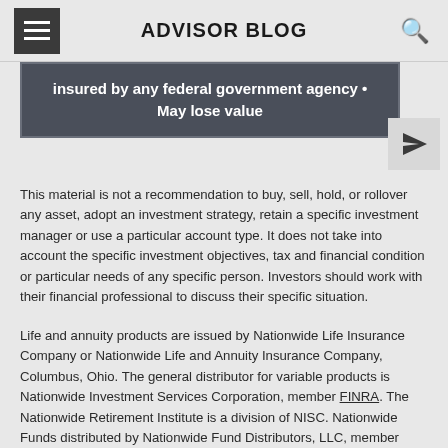ADVISOR BLOG
insured by any federal government agency • May lose value
This material is not a recommendation to buy, sell, hold, or rollover any asset, adopt an investment strategy, retain a specific investment manager or use a particular account type. It does not take into account the specific investment objectives, tax and financial condition or particular needs of any specific person. Investors should work with their financial professional to discuss their specific situation.
Life and annuity products are issued by Nationwide Life Insurance Company or Nationwide Life and Annuity Insurance Company, Columbus, Ohio. The general distributor for variable products is Nationwide Investment Services Corporation, member FINRA. The Nationwide Retirement Institute is a division of NISC. Nationwide Funds distributed by Nationwide Fund Distributors, LLC, member FINRA, Columbus, OH. Nationwide Life Insurance